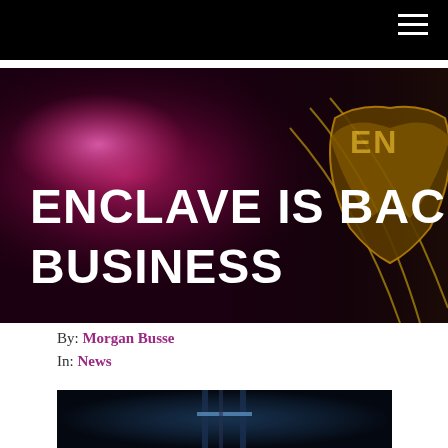Navigation bar with hamburger menu
[Figure (photo): Dark sci-fi themed hero banner with text 'ENCLAVE IS BACK IN BUSINESS' overlaid on a space/dark background with a golden emblem on the right side]
ENCLAVE IS BACK IN BUSINESS
By: Morgan Busse
In: News
[Figure (photo): Dark image showing what appears to be a sci-fi interior scene with blue-tinted lighting]